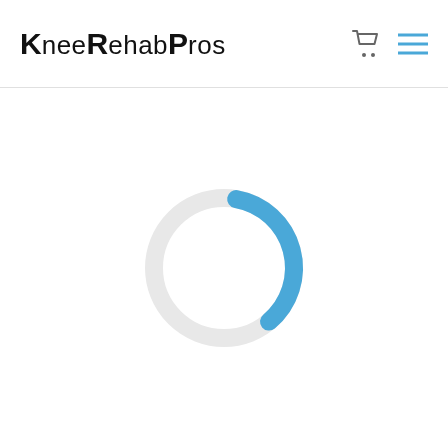KneeRehabPros
[Figure (other): Loading spinner: a circular ring mostly light gray with a blue arc segment in the upper-right portion, indicating a page loading state.]